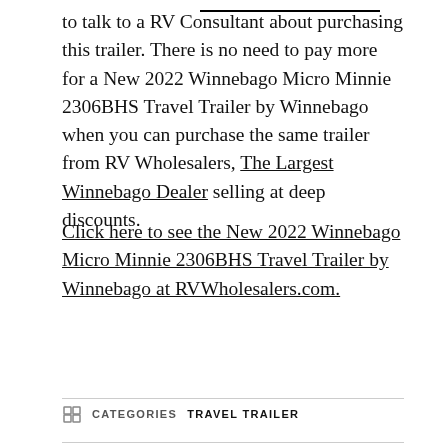to talk to a RV Consultant about purchasing this trailer. There is no need to pay more for a New 2022 Winnebago Micro Minnie 2306BHS Travel Trailer by Winnebago when you can purchase the same trailer from RV Wholesalers, The Largest Winnebago Dealer selling at deep discounts.
Click here to see the New 2022 Winnebago Micro Minnie 2306BHS Travel Trailer by Winnebago at RVWholesalers.com.
CATEGORIES: TRAVEL TRAILER